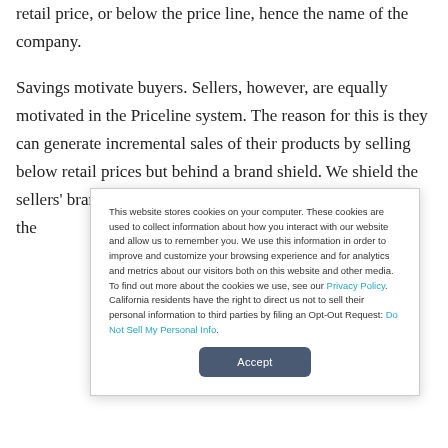retail price, or below the price line, hence the name of the company.
Savings motivate buyers. Sellers, however, are equally motivated in the Priceline system. The reason for this is they can generate incremental sales of their products by selling below retail prices but behind a brand shield. We shield the sellers' brands so that they can continue to capture more of the
This website stores cookies on your computer. These cookies are used to collect information about how you interact with our website and allow us to remember you. We use this information in order to improve and customize your browsing experience and for analytics and metrics about our visitors both on this website and other media. To find out more about the cookies we use, see our Privacy Policy. California residents have the right to direct us not to sell their personal information to third parties by filing an Opt-Out Request: Do Not Sell My Personal Info.